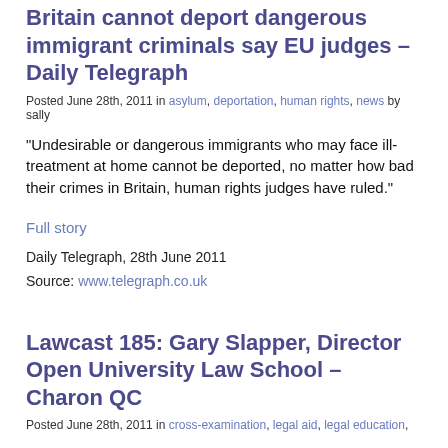Britain cannot deport dangerous immigrant criminals say EU judges – Daily Telegraph
Posted June 28th, 2011 in asylum, deportation, human rights, news by sally
“Undesirable or dangerous immigrants who may face ill-treatment at home cannot be deported, no matter how bad their crimes in Britain, human rights judges have ruled.”
Full story
Daily Telegraph, 28th June 2011
Source: www.telegraph.co.uk
Lawcast 185: Gary Slapper, Director Open University Law School – Charon QC
Posted June 28th, 2011 in cross-examination, legal aid, legal education,